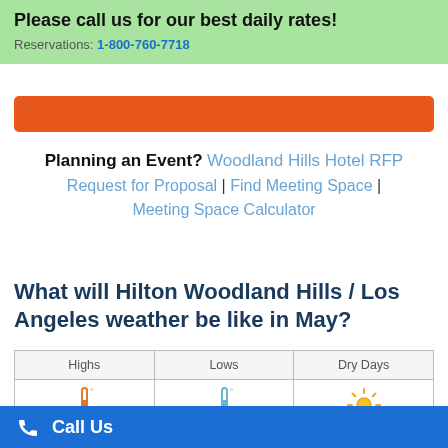Please call us for our best daily rates!
Reservations: 1-800-760-7718
Planning an Event? Woodland Hills Hotel RFP Request for Proposal | Find Meeting Space | Meeting Space Calculator
What will Hilton Woodland Hills / Los Angeles weather be like in May?
| Highs | Lows | Dry Days |
| --- | --- | --- |
| 74° F / 23° C | 55° F / 13° C | 25 |
| Rain Days | Thunder Days | Snow Days |
Call Us